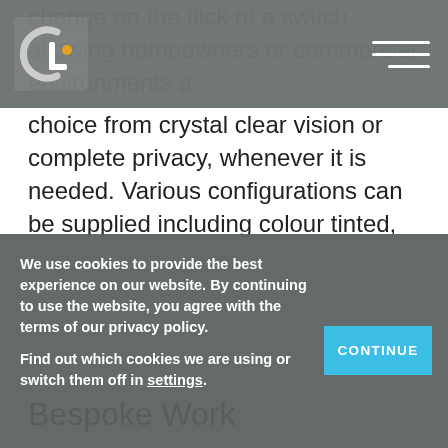change on the flick of a switch allowing homeowners or commercial environments a choice from crystal clear vision or complete privacy, whenever it is needed. Various configurations can be supplied including colour tinted, fire-rated, double glazed, curved and shaped.
Bespoke Work
Clear Living welcome bespoke designs of any
We use cookies to provide the best experience on our website. By continuing to use the website, you agree with the terms of our privacy policy.

Find out which cookies we are using or switch them off in settings.